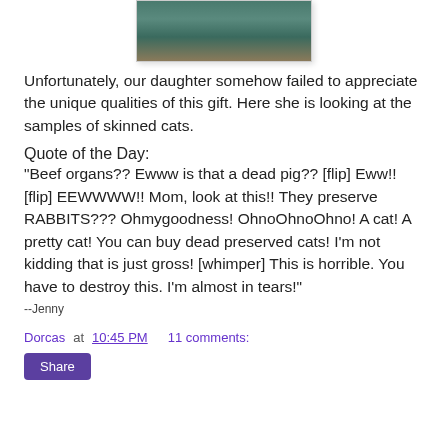[Figure (photo): Partial photo of a person, cropped at top, showing torso area with patterned clothing against a wooden background]
Unfortunately, our daughter somehow failed to appreciate the unique qualities of this gift.  Here she is looking at the samples of skinned cats.
Quote of the Day:
"Beef organs?? Ewww is that a dead pig?? [flip] Eww!! [flip] EEWWWW!! Mom, look at this!!  They preserve RABBITS??? Ohmygoodness!  OhnoOhnoOhno! A cat!  A pretty cat!  You can buy dead preserved cats!  I'm not kidding that is just gross! [whimper] This is horrible.  You have to destroy this.  I'm almost in tears!"
--Jenny
Dorcas at 10:45 PM    11 comments:
Share